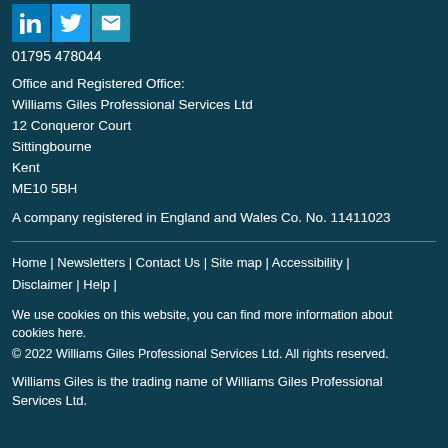[Figure (logo): Three social media icons: LinkedIn (blue), Twitter (light blue), and Email/envelope (teal-blue)]
01795 478044
Office and Registered Office:
Williams Giles Professional Services Ltd
12 Conqueror Court
Sittingbourne
Kent
ME10 5BH
A company registered in England and Wales Co. No. 11411023
Home | Newsletters | Contact Us | Site map | Accessibility | Disclaimer | Help |
We use cookies on this website, you can find more information about cookies here.
© 2022 Williams Giles Professional Services Ltd. All rights reserved.
Williams Giles is the trading name of Williams Giles Professional Services Ltd.